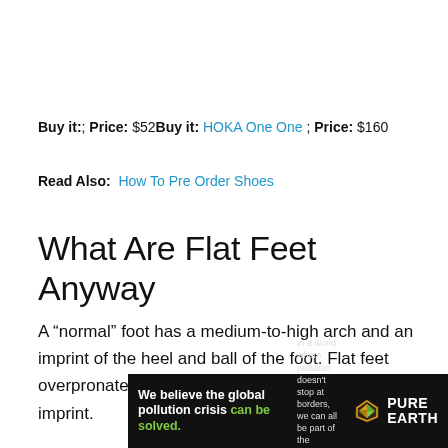Buy it:; Price: $52Buy it: HOKA One One ; Price: $160
Read Also: How To Pre Order Shoes
What Are Flat Feet Anyway
A “normal” foot has a medium-to-high arch and an imprint of the heel and ball of the foot. Flat feet overpronate and have a very low arch with a full imprint.
[Figure (infographic): Pure Earth advertisement banner: dark background with text 'We believe the global pollution crisis can be solved.' on left, 'In a world where pollution doesn’t stop at borders, we can all be part of the solution. JOIN US.' in middle, and Pure Earth logo on right.]